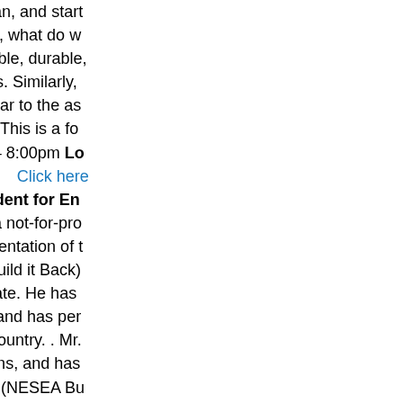will wipe the slate clean, and start where should we start, what do w more efficient, affordable, durable, occupants and owners. Similarly, training camp each year to the as out a ball and saying "This is a fo 19, 2014 Time: 6:30 – 8:00pm Lo Manhattan, NY 10012   Click here Padian is Vice President for En Corporation (CPC), a not-for-pro working in the implementation of t Recovery Program (Build it Back) New York City and State. He has multifamily buildings, and has per buildings across the country. . Mr. sustainable publications, and has over the last 30 years (NESEA Bu National Weatherization Confere lives in NYC, and is involved in m GreenHomeNYC (Board Presiden Board Chair) and the Clinton Com NESEA's 2008 Building Energy C Conference, each of which attrac